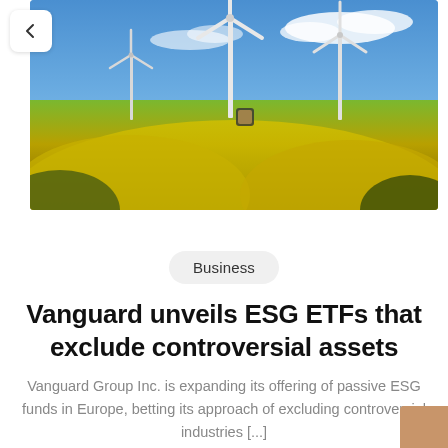[Figure (photo): Wind turbines standing in a yellow flowering rapeseed field under a partly cloudy blue sky]
Business
Vanguard unveils ESG ETFs that exclude controversial assets
Vanguard Group Inc. is expanding its offering of passive ESG funds in Europe, betting its approach of excluding controversial industries [...]